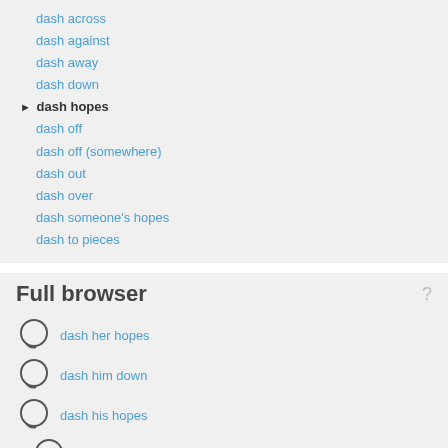dash across
dash against
dash away
dash down
► dash hopes
dash off
dash off (somewhere)
dash out
dash over
dash someone's hopes
dash to pieces
Full browser
dash her hopes
dash him down
dash his hopes
► dash hopes